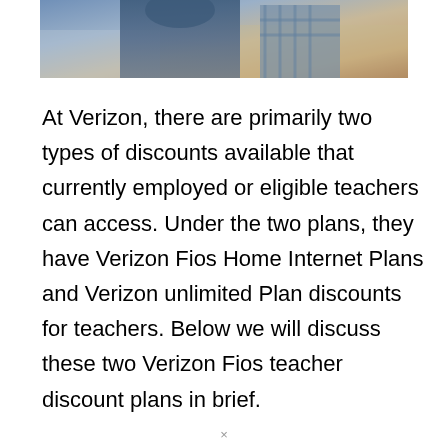[Figure (photo): Partial photo of people in a casual/restaurant setting, cropped at top of page]
At Verizon, there are primarily two types of discounts available that currently employed or eligible teachers can access. Under the two plans, they have Verizon Fios Home Internet Plans and Verizon unlimited Plan discounts for teachers. Below we will discuss these two Verizon Fios teacher discount plans in brief.